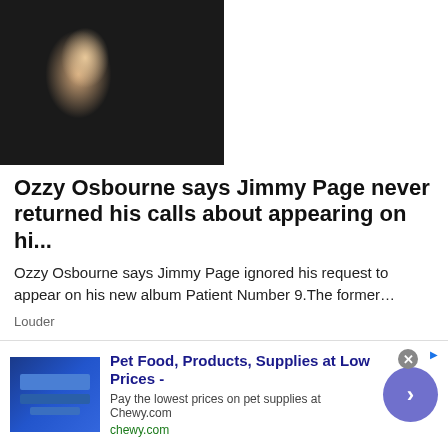[Figure (photo): Side-by-side photos of Ozzy Osbourne (left, in black jacket with red scarf and gold chains, dark eye makeup) and Jimmy Page (right, in black jacket, white-haired)]
Ozzy Osbourne says Jimmy Page never returned his calls about appearing on hi...
Ozzy Osbourne says Jimmy Page ignored his request to appear on his new album Patient Number 9.The former...
Louder
[Figure (photo): Partial image of skin/body, cropped]
Pet Food, Products, Supplies at Low Prices -
Pay the lowest prices on pet supplies at Chewy.com
chewy.com